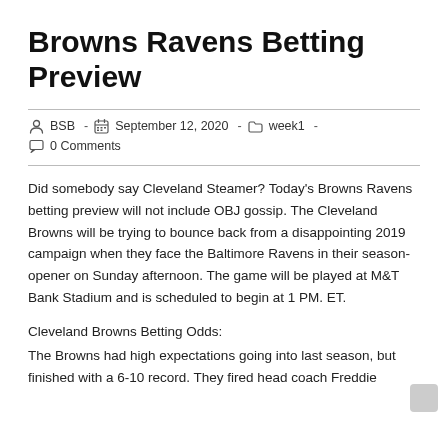Browns Ravens Betting Preview
BSB  -  September 12, 2020  -  week1  -
0 Comments
Did somebody say Cleveland Steamer? Today's Browns Ravens betting preview will not include OBJ gossip. The Cleveland Browns will be trying to bounce back from a disappointing 2019 campaign when they face the Baltimore Ravens in their season-opener on Sunday afternoon. The game will be played at M&T Bank Stadium and is scheduled to begin at 1 PM. ET.
Cleveland Browns Betting Odds:
The Browns had high expectations going into last season, but finished with a 6-10 record. They fired head coach Freddie